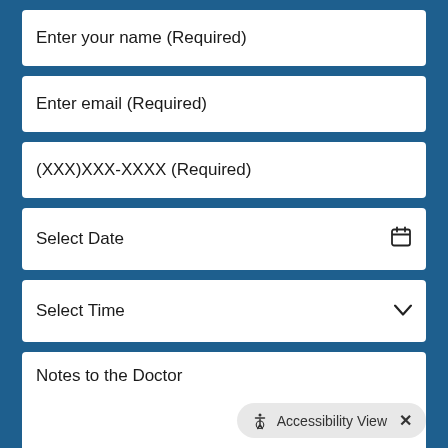Enter your name (Required)
Enter email (Required)
(XXX)XXX-XXXX (Required)
Select Date
Select Time
Notes to the Doctor
Accessibility View